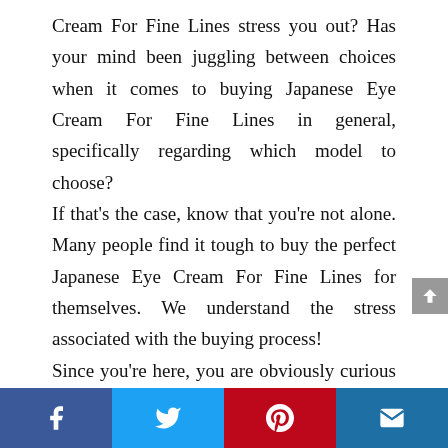Cream For Fine Lines stress you out? Has your mind been juggling between choices when it comes to buying Japanese Eye Cream For Fine Lines in general, specifically regarding which model to choose?
If that's the case, know that you're not alone. Many people find it tough to buy the perfect Japanese Eye Cream For Fine Lines for themselves. We understand the stress associated with the buying process!
Since you're here, you are obviously curious about Japanese Eye Cream For Fine Lines Reviews. You've been bombarded with information, so you need to find a reputable source with credible options before you make any decisions on which product
Facebook | Twitter | Pinterest | Email